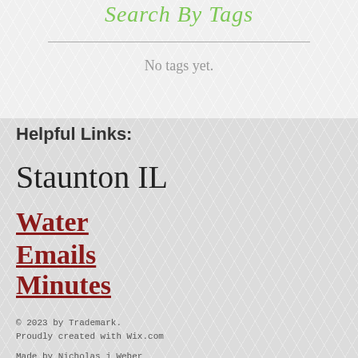Search By Tags
No tags yet.
Helpful Links:
Staunton IL
Water Emails
Minutes
© 2023 by Trademark.
Proudly created with Wix.com
Made by Nicholas j Weber
Forms